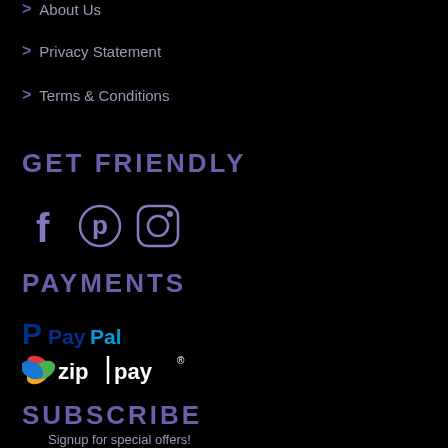About Us
Privacy Statement
Terms & Conditions
GET FRIENDLY
[Figure (illustration): Social media icons: Facebook, Pinterest, Instagram]
PAYMENTS
[Figure (logo): PayPal logo]
[Figure (logo): Zip Pay logo]
SUBSCRIBE
Signup for special offers!